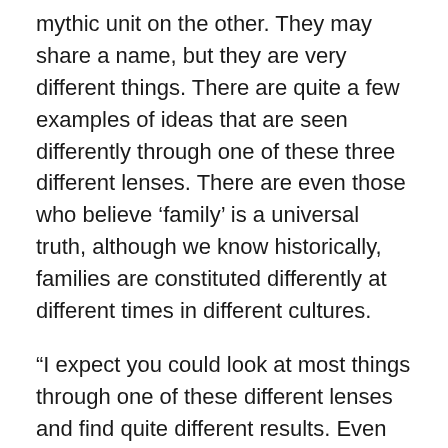mythic unit on the other. They may share a name, but they are very different things. There are quite a few examples of ideas that are seen differently through one of these three different lenses. There are even those who believe ‘family’ is a universal truth, although we know historically, families are constituted differently at different times in different cultures.
“I expect you could look at most things through one of these different lenses and find quite different results. Even the ‘individual’ has a political significance that is different from its psychic significance. To say nothing of its insignificance in the wider universe.”
“But there is a significance to the universal individual,” I said. “It is the ancient problem of the one and the many. The universe may be infinite, but it is still made up of